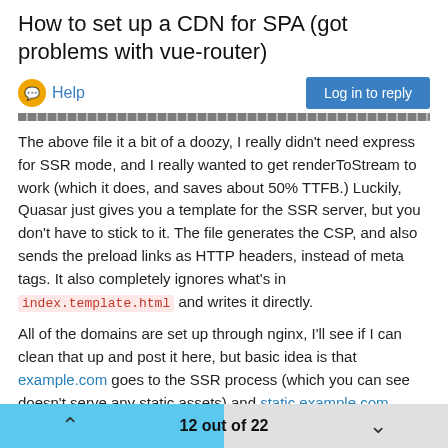How to set up a CDN for SPA (got problems with vue-router)
Help
The above file it a bit of a doozy, I really didn't need express for SSR mode, and I really wanted to get renderToStream to work (which it does, and saves about 50% TTFB.) Luckily, Quasar just gives you a template for the SSR server, but you don't have to stick to it. The file generates the CSP, and also sends the preload links as HTTP headers, instead of meta tags. It also completely ignores what's in index.template.html and writes it directly.
All of the domains are set up through nginx, I'll see if I can clean that up and post it here, but basic idea is that example.com goes to the SSR process (which you can see doesn't serve any static assets) and static.example.com serves the dist/ssr/www folder, with gzip_static and brotli_static enabled (you have to manually compile the brotli plugin for that to work, but it's worth it for me.)
Finally, I also serve quasar's dev mode through nginx as well, just
12 out of 22